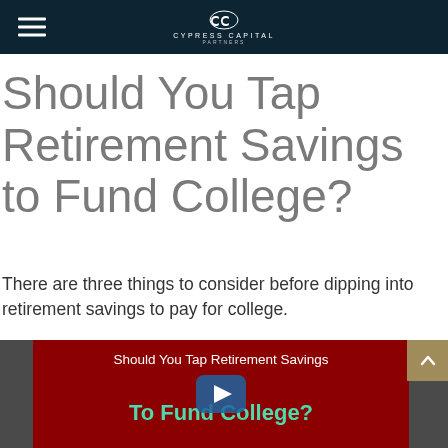Cypress Capital [logo header navigation]
Should You Tap Retirement Savings to Fund College?
There are three things to consider before dipping into retirement savings to pay for college.
[Figure (screenshot): Video thumbnail with dark red background showing text 'Should You Tap Retirement Savings' and 'To Fund College?' in teal/green, with a play button overlay in the center]